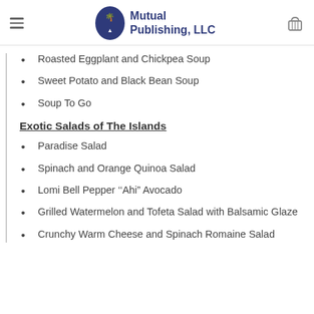Mutual Publishing, LLC
Roasted Eggplant and Chickpea Soup
Sweet Potato and Black Bean Soup
Soup To Go
Exotic Salads of The Islands
Paradise Salad
Spinach and Orange Quinoa Salad
Lomi Bell Pepper ‘‘Ahi” Avocado
Grilled Watermelon and Tofeta Salad with Balsamic Glaze
Crunchy Warm Cheese and Spinach Romaine Salad